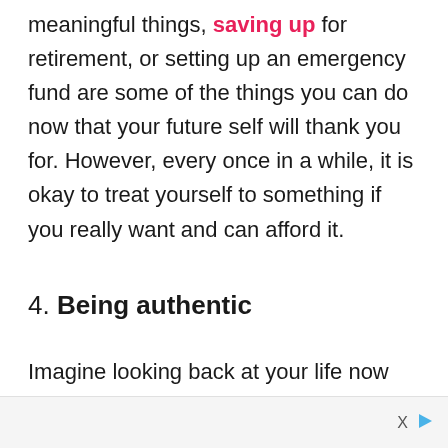meaningful things, saving up for retirement, or setting up an emergency fund are some of the things you can do now that your future self will thank you for. However, every once in a while, it is okay to treat yourself to something if you really want and can afford it.
4. Being authentic
Imagine looking back at your life now and not even recognizing who that person is. You have probably